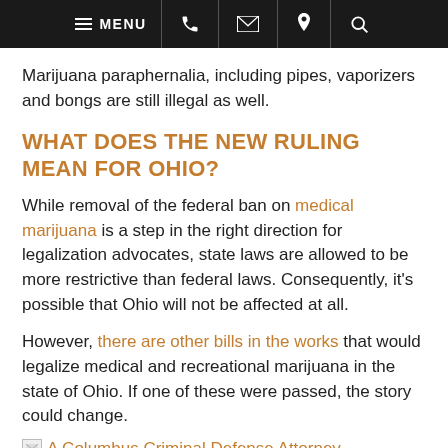MENU [phone] [email] [location] [search]
Marijuana paraphernalia, including pipes, vaporizers and bongs are still illegal as well.
WHAT DOES THE NEW RULING MEAN FOR OHIO?
While removal of the federal ban on medical marijuana is a step in the right direction for legalization advocates, state laws are allowed to be more restrictive than federal laws. Consequently, it’s possible that Ohio will not be affected at all.
However, there are other bills in the works that would legalize medical and recreational marijuana in the state of Ohio. If one of these were passed, the story could change.
A Columbus Criminal Defense Attorney